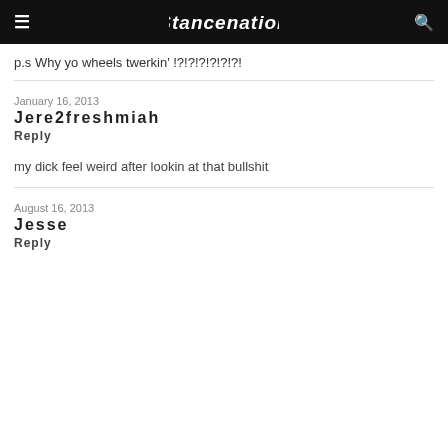Stancenation
p.s Why yo wheels twerkin' !?!?!?!?!?!?!
January 16, 2013
Jere2freshmiah
Reply
my dick feel weird after lookin at that bullshit
August 16, 2013
Jesse
Reply